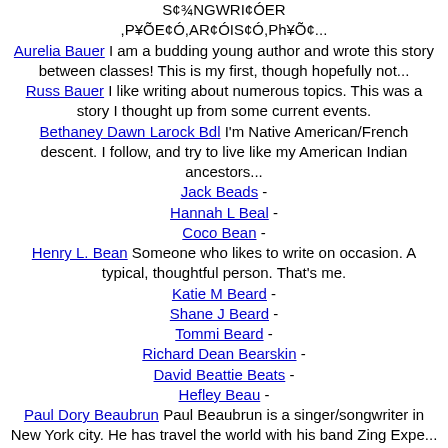S¢¾NGWRI¢ÓER ,P¥ÕE¢Ó,AR¢ÓIS¢Ó,Ph¥Õ¢...
Aurelia Bauer I am a budding young author and wrote this story between classes! This is my first, though hopefully not...
Russ Bauer I like writing about numerous topics. This was a story I thought up from some current events.
Bethaney Dawn Larock Bdl I'm Native American/French descent. I follow, and try to live like my American Indian ancestors...
Jack Beads -
Hannah L Beal -
Coco Bean -
Henry L. Bean Someone who likes to write on occasion. A typical, thoughtful person. That's me.
Katie M Beard -
Shane J Beard -
Tommi Beard -
Richard Dean Bearskin -
David Beattie Beats -
Hefley Beau -
Paul Dory Beaubrun Paul Beaubrun is a singer/songwriter in New York city. He has travel the world with his band Zing Expe...
Beverly Beauchamp Thirty-nine year